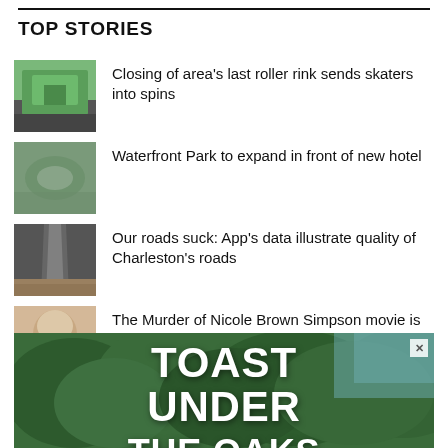TOP STORIES
Closing of area's last roller rink sends skaters into spins
Waterfront Park to expand in front of new hotel
Our roads suck: App's data illustrate quality of Charleston's roads
The Murder of Nicole Brown Simpson movie is as gross as you'd think
Charleston Animal Society launches new adoption campaign
[Figure (photo): Advertisement banner showing trees with text TOAST UNDER THE OAKS]